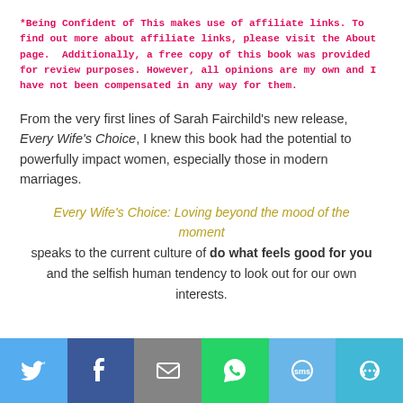*Being Confident of This makes use of affiliate links. To find out more about affiliate links, please visit the About page.  Additionally, a free copy of this book was provided for review purposes. However, all opinions are my own and I have not been compensated in any way for them.
From the very first lines of Sarah Fairchild's new release, Every Wife's Choice, I knew this book had the potential to powerfully impact women, especially those in modern marriages.
Every Wife's Choice: Loving beyond the mood of the moment speaks to the current culture of do what feels good for you and the selfish human tendency to look out for our own interests.
[Figure (infographic): Social sharing bar with six buttons: Twitter (light blue), Facebook (dark blue), Email (gray), WhatsApp (green), SMS (light blue), More (teal)]